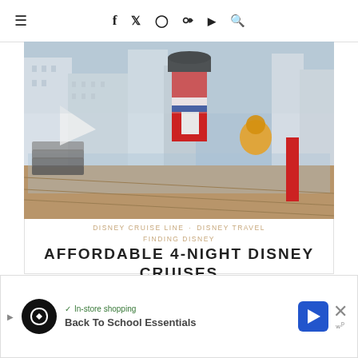≡  f  Twitter  Instagram  Pinterest  YouTube  Search
[Figure (photo): Disney cruise ship deck with red funnel, city skyline in the background, wooden deck and glass railings visible]
DISNEY CRUISE LINE  ·  DISNEY TRAVEL  FINDING DISNEY
AFFORDABLE 4-NIGHT DISNEY CRUISES UNDER $2000
[Figure (infographic): Advertisement banner with Loopy Cases logo, In-store shopping checkmark text, blue diamond navigation arrow icon, Back To School Essentials text, and close X button]